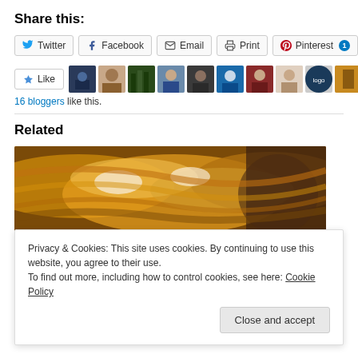Share this:
[Figure (screenshot): Social sharing buttons: Twitter, Facebook, Email, Print, Pinterest (with badge showing 1)]
[Figure (screenshot): Like button with star icon and row of 10 user avatar thumbnails]
16 bloggers like this.
Related
[Figure (photo): Close-up photo of food — appears to be caramelized or glazed pastry/crepe with powdered sugar and chocolate crumble]
Privacy & Cookies: This site uses cookies. By continuing to use this website, you agree to their use.
To find out more, including how to control cookies, see here: Cookie Policy
Close and accept